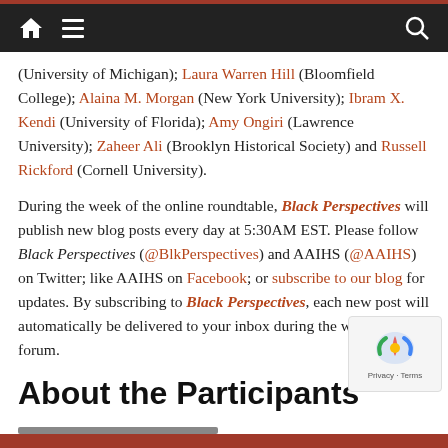Navigation bar with home, menu, and search icons
(University of Michigan); Laura Warren Hill (Bloomfield College); Alaina M. Morgan (New York University); Ibram X. Kendi (University of Florida); Amy Ongiri (Lawrence University); Zaheer Ali (Brooklyn Historical Society) and Russell Rickford (Cornell University).
During the week of the online roundtable, Black Perspectives will publish new blog posts every day at 5:30AM EST. Please follow Black Perspectives (@BlkPerspectives) and AAIHS (@AAIHS) on Twitter; like AAIHS on Facebook; or subscribe to our blog for updates. By subscribing to Black Perspectives, each new post will automatically be delivered to your inbox during the week of the forum.
About the Participants